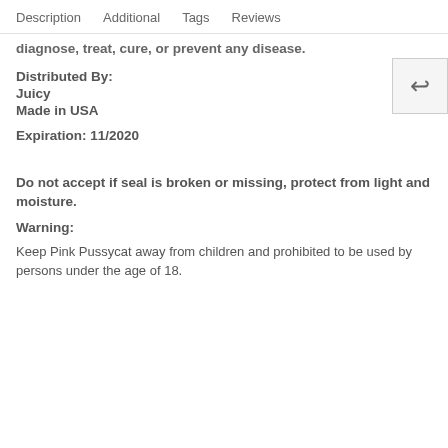Description   Additional   Tags   Reviews
diagnose, treat, cure, or prevent any disease.
Distributed By:
Juicy
Made in USA
Expiration: 11/2020
Do not accept if seal is broken or missing, protect from light and moisture.
Warning:
Keep Pink Pussycat away from children and prohibited to be used by persons under the age of 18.